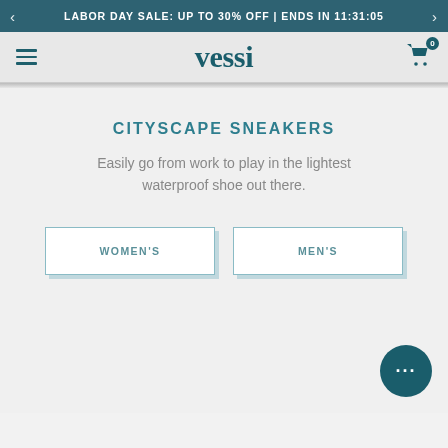LABOR DAY SALE: UP TO 30% OFF | ENDS IN 11:31:05
[Figure (logo): Vessi brand logo in teal with hamburger menu and cart icon in navigation bar]
CITYSCAPE SNEAKERS
Easily go from work to play in the lightest waterproof shoe out there.
WOMEN'S
MEN'S